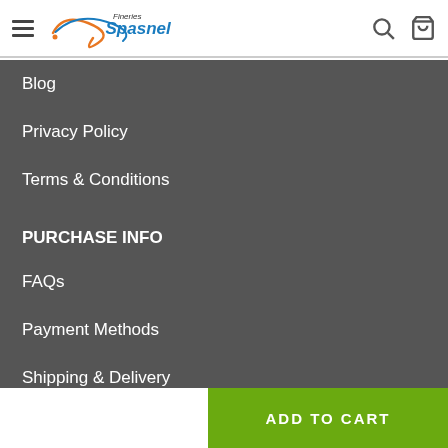Fineries Spasnel — navigation header with hamburger menu, logo, search and cart icons
Blog
Privacy Policy
Terms & Conditions
PURCHASE INFO
FAQs
Payment Methods
Shipping & Delivery
Returns Policy
Tracking
ADD TO CART